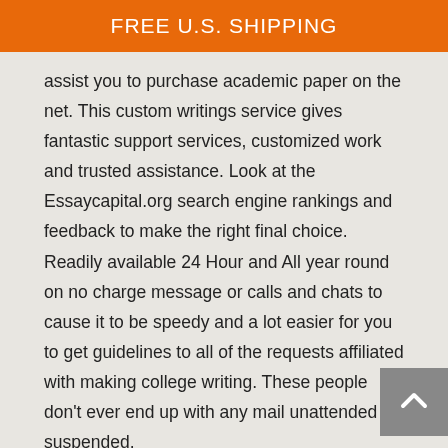FREE U.S. SHIPPING
assist you to purchase academic paper on the net. This custom writings service gives fantastic support services, customized work and trusted assistance. Look at the Essaycapital.org search engine rankings and feedback to make the right final choice. Readily available 24 Hour and All year round on no charge message or calls and chats to cause it to be speedy and a lot easier for you to get guidelines to all of the requests affiliated with making college writing. These people don't ever end up with any mail unattended or suspended.
Your Essay Writer
Our experts available at Essaycapital.org are undoubtedly certified, proficient and they have extra writing talent to supply clients prompt, 100Percent exclusive, as well as professional essay